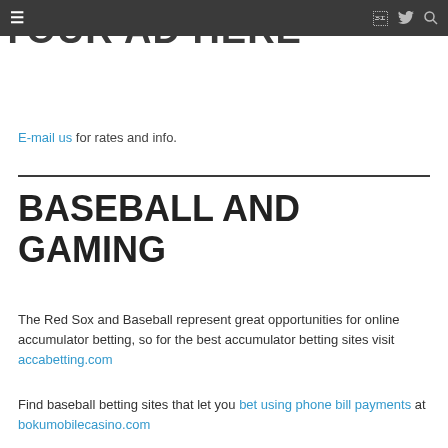≡  (facebook) (twitter) (search)
YOUR AD HERE
E-mail us for rates and info.
BASEBALL AND GAMING
The Red Sox and Baseball represent great opportunities for online accumulator betting, so for the best accumulator betting sites visit accabetting.com
Find baseball betting sites that let you bet using phone bill payments at bokumobilecasino.com